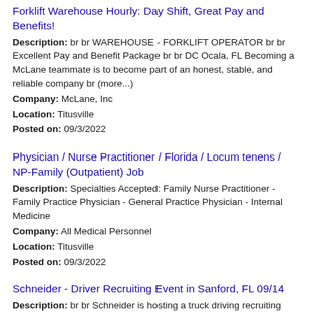Forklift Warehouse Hourly: Day Shift, Great Pay and Benefits!
Description: br br WAREHOUSE - FORKLIFT OPERATOR br br Excellent Pay and Benefit Package br br DC Ocala, FL Becoming a McLane teammate is to become part of an honest, stable, and reliable company br (more...)
Company: McLane, Inc
Location: Titusville
Posted on: 09/3/2022
Physician / Nurse Practitioner / Florida / Locum tenens / NP-Family (Outpatient) Job
Description: Specialties Accepted: Family Nurse Practitioner - Family Practice Physician - General Practice Physician - Internal Medicine
Company: All Medical Personnel
Location: Titusville
Posted on: 09/3/2022
Schneider - Driver Recruiting Event in Sanford, FL 09/14
Description: br br Schneider is hosting a truck driving recruiting event on Wednesday, September
Company: Schneider